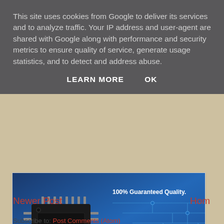This site uses cookies from Google to deliver its services and to analyze traffic. Your IP address and user-agent are shared with Google along with performance and security metrics to ensure quality of service, generate usage statistics, and to detect and address abuse.
LEARN MORE    OK
[Figure (photo): Advertisement banner showing a black IC chip/microcontroller on a blue circuit board background with the text '100% Guaranteed Quality.']
Kynix
Newer Post
Hom
Subscribe to: Post Comments (Atom)